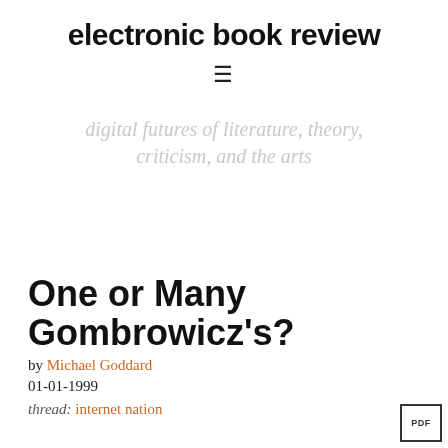electronic book review
≡
digital futures of literature, theory, criticism, and the arts
One or Many Gombrowicz's?
by Michael Goddard
01-01-1999
thread: internet nation